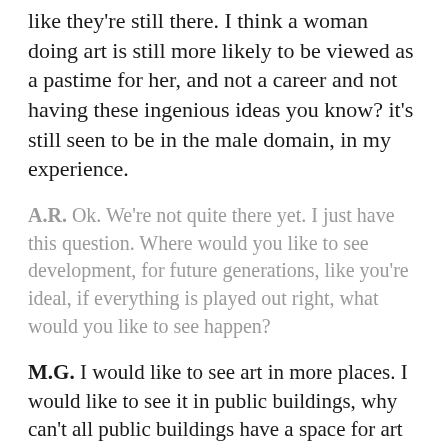like they're still there. I think a woman doing art is still more likely to be viewed as a pastime for her, and not a career and not having these ingenious ideas you know? it's still seen to be in the male domain, in my experience.
A.R. Ok. We're not quite there yet. I just have this question. Where would you like to see development, for future generations, like you're ideal, if everything is played out right, what would you like to see happen?
M.G. I would like to see art in more places. I would like to see it in public buildings, why can't all public buildings have a space for art in their entranceway? That is, something that's secured, and just getting it out there. There's nothing like seeing the actual object in the b...